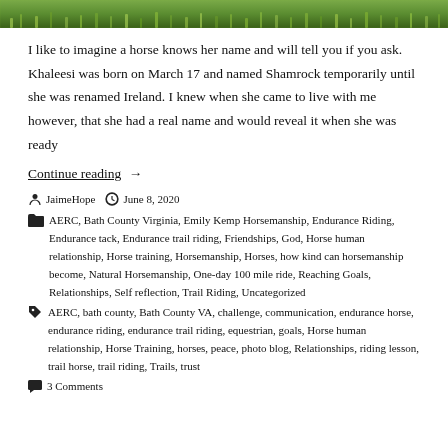[Figure (photo): Green grass/nature photo strip at the top of the page]
I like to imagine a horse knows her name and will tell you if you ask. Khaleesi was born on March 17 and named Shamrock temporarily until she was renamed Ireland. I knew when she came to live with me however, that she had a real name and would reveal it when she was ready
Continue reading →
JaimeHope   June 8, 2020
AERC, Bath County Virginia, Emily Kemp Horsemanship, Endurance Riding, Endurance tack, Endurance trail riding, Friendships, God, Horse human relationship, Horse training, Horsemanship, Horses, how kind can horsemanship become, Natural Horsemanship, One-day 100 mile ride, Reaching Goals, Relationships, Self reflection, Trail Riding, Uncategorized
AERC, bath county, Bath County VA, challenge, communication, endurance horse, endurance riding, endurance trail riding, equestrian, goals, Horse human relationship, Horse Training, horses, peace, photo blog, Relationships, riding lesson, trail horse, trail riding, Trails, trust
3 Comments